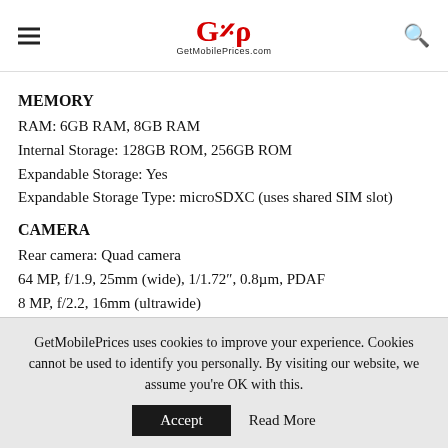GetMobilePrices.com
MEMORY
RAM: 6GB RAM, 8GB RAM
Internal Storage: 128GB ROM, 256GB ROM
Expandable Storage: Yes
Expandable Storage Type: microSDXC (uses shared SIM slot)
CAMERA
Rear camera: Quad camera
64 MP, f/1.9, 25mm (wide), 1/1.72", 0.8µm, PDAF
8 MP, f/2.2, 16mm (ultrawide)
GetMobilePrices uses cookies to improve your experience. Cookies cannot be used to identify you personally. By visiting our website, we assume you're OK with this.